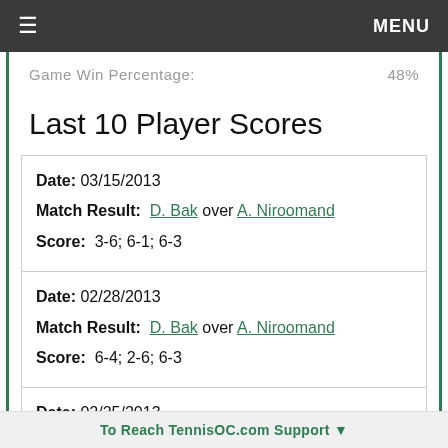≡  MENU
Game Win Percentage:  48%
Last 10 Player Scores
| Date: 03/15/2013 | Match Result: D. Bak over A. Niroomand | Score: 3-6; 6-1; 6-3 |
| Date: 02/28/2013 | Match Result: D. Bak over A. Niroomand | Score: 6-4; 2-6; 6-3 |
| Date: 02/25/2013 | (partial) |
To Reach TennisOC.com Support ▼